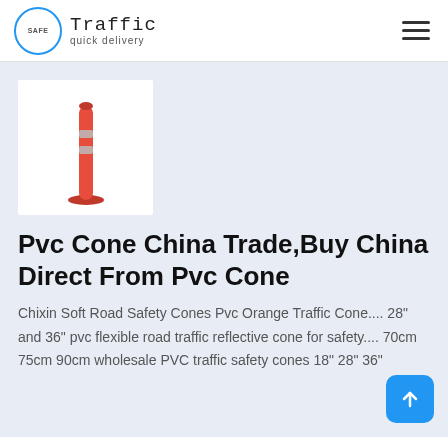SAFE Traffic quick delivery
[Figure (photo): Orange PVC traffic safety delineator post/bollard with reflective bands, shown vertically on white background]
Pvc Cone China Trade,Buy China Direct From Pvc Cone
Chixin Soft Road Safety Cones Pvc Orange Traffic Cone.... 28" and 36" pvc flexible road traffic reflective cone for safety.... 70cm 75cm 90cm wholesale PVC traffic safety cones 18" 28" 36"